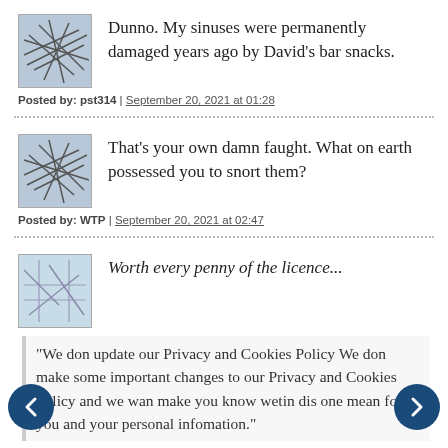Dunno. My sinuses were permanently damaged years ago by David's bar snacks.
Posted by: pst314 | September 20, 2021 at 01:28
That's your own damn faught. What on earth possessed you to snort them?
Posted by: WTP | September 20, 2021 at 02:47
Worth every penny of the licence...
"We don update our Privacy and Cookies Policy We don make some important changes to our Privacy and Cookies Policy and we wan make you know wetin dis one mean for you and your personal infomation."